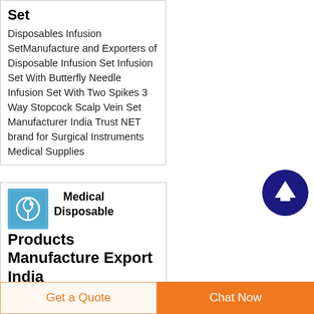Set
Disposables Infusion SetManufacture and Exporters of Disposable Infusion Set Infusion Set With Butterfly Needle Infusion Set With Two Spikes 3 Way Stopcock Scalp Vein Set Manufacturer India Trust NET brand for Surgical Instruments Medical Supplies
[Figure (logo): Blue square icon with a medical infusion set/loop graphic]
Medical Disposable Products Manufacture Export India
Established in 1988 and
Get a Quote
Chat Now